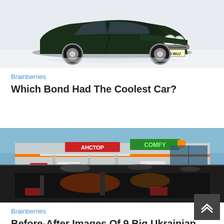[Figure (photo): Dark green classic Aston Martin car (registration B549 WUJ) parked on snow, front three-quarter view]
Brainberries
Which Bond Had The Coolest Car?
[Figure (photo): Before-and-after composite image of a large Ukrainian shopping mall exterior (showing ANCTOP and COMFY signs) before destruction (top) and after with smoke/fire damage (bottom)]
Brainberries
Before-After Images Of 9 Big Ukrainian Malls Destroyed By